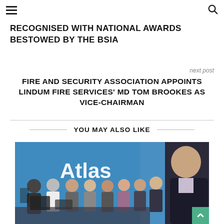☰ [menu icon] | [search icon]
RECOGNISED WITH NATIONAL AWARDS BESTOWED BY THE BSIA
next post
FIRE AND SECURITY ASSOCIATION APPOINTS LINDUM FIRE SERVICES' MD TOM BROOKES AS VICE-CHAIRMAN
YOU MAY ALSO LIKE
[Figure (photo): Group of people standing in front of an Atlas branded blue wall in an office environment]